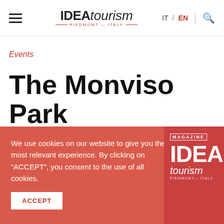IDEAtourism — PIEDMONT — ITALY | IT / EN
Events
The Monviso Park excursions
The park offers three excursions in
We use cookies on our website to give you the most relevant experience. By clicking on "ACCEPT", you consent to the use of all cookies.
ACCEPT
[Figure (logo): MAGAZINE IDEAtourism PIEDMONT — ITALY logo overlay in bottom right corner]